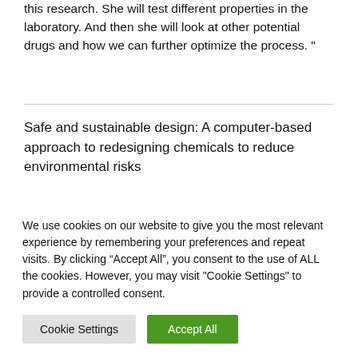this research. She will test different properties in the laboratory. And then she will look at other potential drugs and how we can further optimize the process. "
Safe and sustainable design: A computer-based approach to redesigning chemicals to reduce environmental risks
We use cookies on our website to give you the most relevant experience by remembering your preferences and repeat visits. By clicking “Accept All”, you consent to the use of ALL the cookies. However, you may visit "Cookie Settings" to provide a controlled consent.